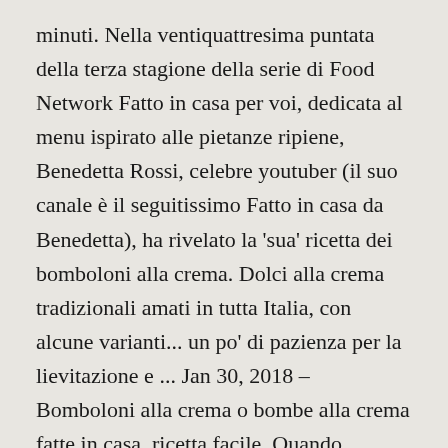minuti. Nella ventiquattresima puntata della terza stagione della serie di Food Network Fatto in casa per voi, dedicata al menu ispirato alle pietanze ripiene, Benedetta Rossi, celebre youtuber (il suo canale è il seguitissimo Fatto in casa da Benedetta), ha rivelato la 'sua' ricetta dei bomboloni alla crema. Dolci alla crema tradizionali amati in tutta Italia, con alcune varianti... un po' di pazienza per la lievitazione e ... Jan 30, 2018 – Bomboloni alla crema o bombe alla crema fatte in casa, ricetta facile. Quando l'impasto è consistente, lo lavoriamo sul piano infarinato, incorporando la farina rimasta. Do il mio consenso affinché un cookie salvi i miei dati (nome, email, sito web) per il prossimo